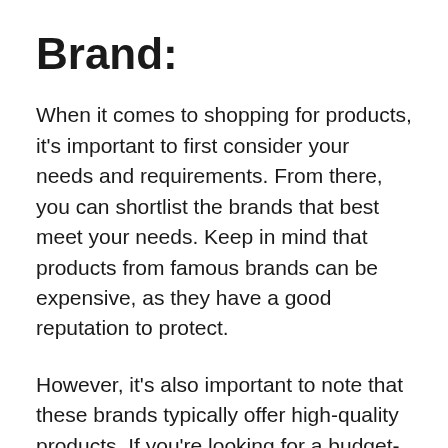Brand:
When it comes to shopping for products, it's important to first consider your needs and requirements. From there, you can shortlist the brands that best meet your needs. Keep in mind that products from famous brands can be expensive, as they have a good reputation to protect.
However, it's also important to note that these brands typically offer high-quality products. If you're looking for a budget-friendly option, you may want to consider brands that are not well-known. If you are looking for a budget-friendly option, you should explore these brands when shopping...